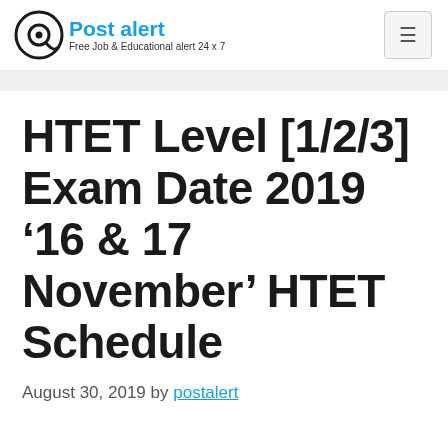Post alert — Free Job & Educational alert 24x7
HTET Level [1/2/3] Exam Date 2019 ‘16 & 17 November’ HTET Schedule
August 30, 2019 by postalert